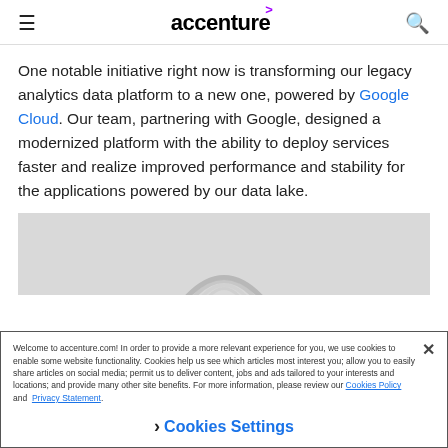accenture
One notable initiative right now is transforming our legacy analytics data platform to a new one, powered by Google Cloud. Our team, partnering with Google, designed a modernized platform with the ability to deploy services faster and realize improved performance and stability for the applications powered by our data lake.
[Figure (photo): Gray placeholder image with partial arc/rainbow graphic visible at bottom center]
Welcome to accenture.com! In order to provide a more relevant experience for you, we use cookies to enable some website functionality. Cookies help us see which articles most interest you; allow you to easily share articles on social media; permit us to deliver content, jobs and ads tailored to your interests and locations; and provide many other site benefits. For more information, please review our Cookies Policy and Privacy Statement.
Cookies Settings